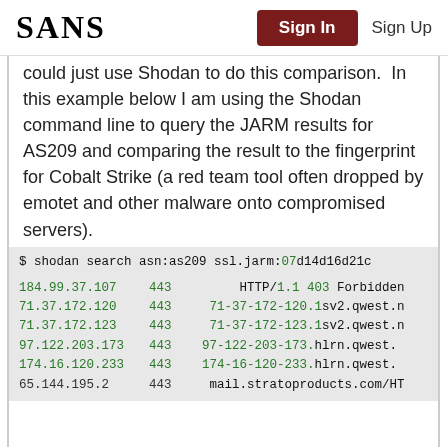SANS  Sign In  Sign Up
could just use Shodan to do this comparison.  In this example below I am using the Shodan command line to query the JARM results for AS209 and comparing the result to the fingerprint for Cobalt Strike (a red team tool often dropped by emotet and other malware onto compromised servers).
$ shodan search asn:as209 ssl.jarm:07d14d16d21c

184.99.37.107  443       HTTP/1.1 403 Forbidden
71.37.172.120  443       71-37-172-120.1sv2.qwest.n
71.37.172.123  443       71-37-172-123.1sv2.qwest.n
97.122.203.173 443       97-122-203-173.hlrn.qwest.
174.16.120.233 443       174-16-120-233.hlrn.qwest.
65.144.195.2   443       mail.stratoproducts.com/HT